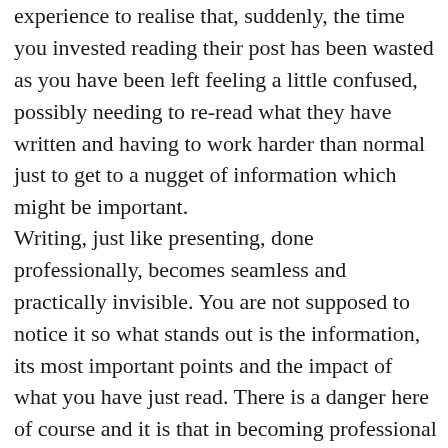experience to realise that, suddenly, the time you invested reading their post has been wasted as you have been left feeling a little confused, possibly needing to re-read what they have written and having to work harder than normal just to get to a nugget of information which might be important.
Writing, just like presenting, done professionally, becomes seamless and practically invisible. You are not supposed to notice it so what stands out is the information, its most important points and the impact of what you have just read. There is a danger here of course and it is that in becoming professional we also help create standards which in themselves standardize everything. The result is that style wins over substance